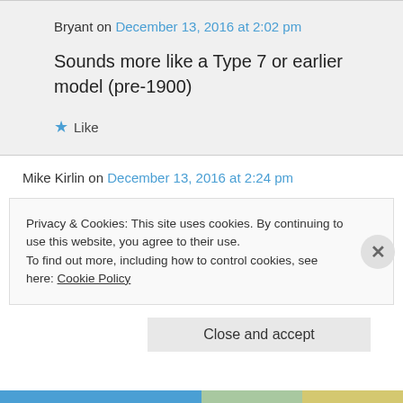Bryant on December 13, 2016 at 2:02 pm
Sounds more like a Type 7 or earlier model (pre-1900)
★ Like
Mike Kirlin on December 13, 2016 at 2:24 pm
Privacy & Cookies: This site uses cookies. By continuing to use this website, you agree to their use.
To find out more, including how to control cookies, see here: Cookie Policy
Close and accept